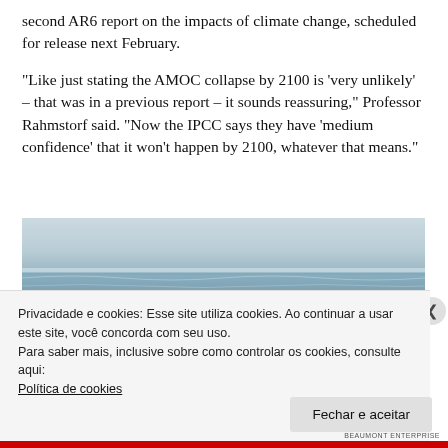second AR6 report on the impacts of climate change, scheduled for release next February.
“Like just stating the AMOC collapse by 2100 is ‘very unlikely’ – that was in a previous report – it sounds reassuring,” Professor Rahmstorf said. “Now the IPCC says they have ‘medium confidence’ that it won’t happen by 2100, whatever that means.”
[Figure (photo): Wide landscape photo of an ocean or coastal scene with gentle waves and a light sky, appearing cold and grey-blue in tone.]
Privacidade e cookies: Esse site utiliza cookies. Ao continuar a usar este site, você concorda com seu uso.
Para saber mais, inclusive sobre como controlar os cookies, consulte aqui:
Política de cookies
Fechar e aceitar